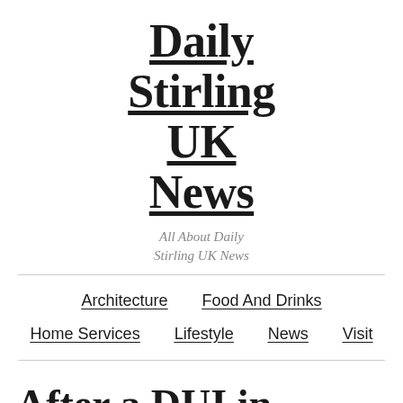Daily Stirling UK News
All About Daily Stirling UK News
Architecture | Food And Drinks | Home Services | Lifestyle | News | Visit
After a DUI in Phoenix, here